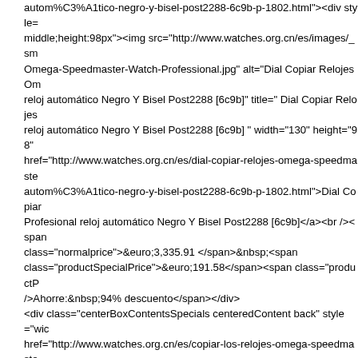autom%C3%A1tico-negro-y-bisel-post2288-6c9b-p-1802.html"><div style= middle;height:98px"><img src="http://www.watches.org.cn/es/images/_sm Omega-Speedmaster-Watch-Professional.jpg" alt="Dial Copiar Relojes Om reloj automático Negro Y Bisel Post2288 [6c9b]" title=" Dial Copiar Relojes reloj automático Negro Y Bisel Post2288 [6c9b] " width="130" height="98" href="http://www.watches.org.cn/es/dial-copiar-relojes-omega-speedmaste autom%C3%A1tico-negro-y-bisel-post2288-6c9b-p-1802.html">Dial Copiar Profesional reloj automático Negro Y Bisel Post2288 [6c9b]</a><br /><span class="normalprice">&euro;3,335.91 </span>&nbsp;<span class="productSpecialPrice">&euro;191.58</span><span class="productP />Ahorre:&nbsp;94% descuento</span></div> <div class="centerBoxContentsSpecials centeredContent back" style="wic href="http://www.watches.org.cn/es/copiar-los-relojes-omega-speedmaste cron%C3%B3grafo-mismo-chasis-como-la-versi%C3%B3n-7750-de-alta-po style="vertical-align: middle;height:98px"><img src="http://www.watches.org.cn/es/images/_small//watches_11/Omega/Rep M-Schmacher-24.jpg" alt="Copiar los relojes Omega Speedmaster Mira M S mismo Chasis Como La Versión 7750 de alta Post2248 [75a8]" title=" Copia Mira M Schmacher Trabajo Cronógrafo mismo Chasis Como La Versión 77: width="130" height="98" /></div></a><br /><a href="http://www.watches.or speedmaster-mira-m-schmacher-trabajo-cron%C3%B3grafo-mismo-chasis de-alta-post2248-75a8-p-1799.html">Copiar los relojes Omega Speedmaste Cronógrafo mismo Chasis Como La Versión 7750 de alta Post2248 [75a8]< class="normalprice">&euro;4,434.24 </span>&nbsp;<span class="productSpecialPrice">&euro;285.51</span><span class="produc